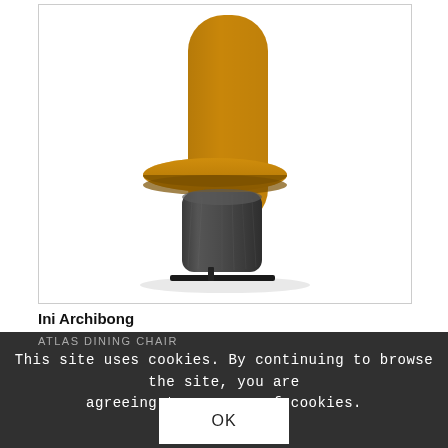[Figure (photo): A modern high-back dining chair called Atlas Dining Chair by Ini Archibong. The chair features a tall rounded rectangular mustard/amber yellow upholstered back panel, a circular yellow upholstered seat, and a chunky dark wood grain cylindrical base, with a flat black metal cross foot. The photo is on a white background, displayed within a light gray bordered box.]
Ini Archibong
ATLAS DINING CHAIR
This site uses cookies. By continuing to browse the site, you are agreeing to our use of cookies.
OK